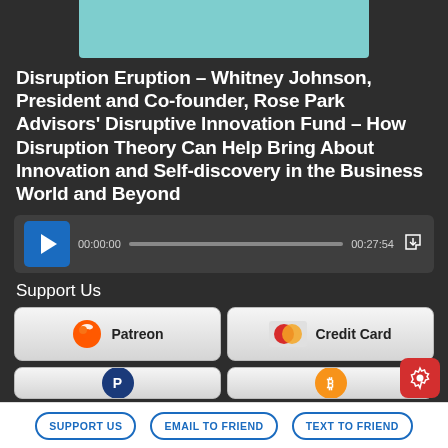[Figure (photo): Top portion of a person wearing teal/turquoise clothing with a necklace, cropped photo]
Disruption Eruption – Whitney Johnson, President and Co-founder, Rose Park Advisors' Disruptive Innovation Fund – How Disruption Theory Can Help Bring About Innovation and Self-discovery in the Business World and Beyond
[Figure (other): Audio player with play button, time 00:00:00, duration 00:27:54, and download icon]
Support Us
[Figure (other): Patreon support button with orange Patreon logo]
[Figure (other): Credit Card support button with credit card logo]
[Figure (other): Partially visible PayPal button]
[Figure (other): Partially visible Bitcoin button]
SUPPORT US   EMAIL TO FRIEND   TEXT TO FRIEND